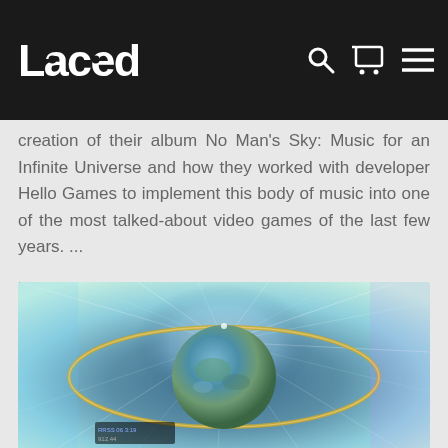Laced
creation of their album No Man’s Sky: Music for an Infinite Universe and how they worked with developer Hello Games to implement this body of music into one of the most talked-about video games of the last few years. ...
Read more
[Figure (photo): Screenshot from No Man's Sky video game showing a planet with a ringed orbital structure and radiating light streaks against a colorful space background]